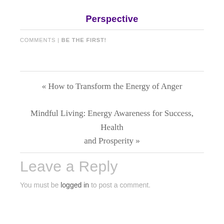Perspective
COMMENTS | BE THE FIRST!
« How to Transform the Energy of Anger
Mindful Living: Energy Awareness for Success, Health and Prosperity »
Leave a Reply
You must be logged in to post a comment.